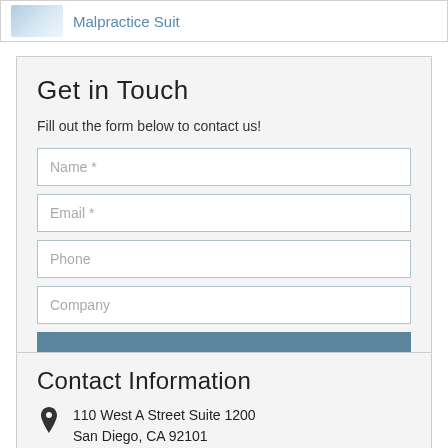[Figure (screenshot): Partial thumbnail image of a Malpractice Suit article with blue/white graphic]
Malpractice Suit
Get in Touch
Fill out the form below to contact us!
Name *
Email *
Phone
Company
SUBMIT
Contact Information
110 West A Street Suite 1200
San Diego, CA 92101